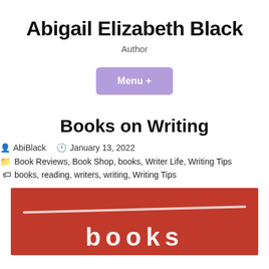Abigail Elizabeth Black
Author
Menu +
Books on Writing
AbiBlack   January 13, 2022
Book Reviews, Book Shop, books, Writer Life, Writing Tips
books, reading, writers, writing, Writing Tips
[Figure (photo): Red background image with a white brushstroke line and partial white text reading 'books' in large letters at the bottom]